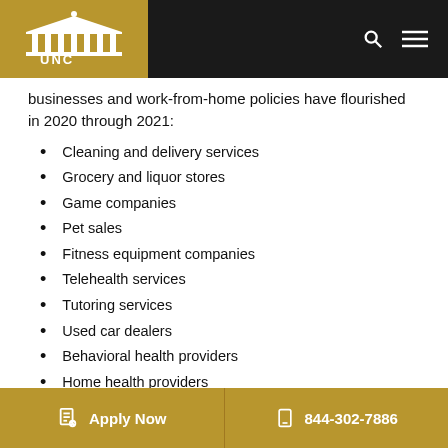UNC Pembroke
businesses and work-from-home policies have flourished in 2020 through 2021:
Cleaning and delivery services
Grocery and liquor stores
Game companies
Pet sales
Fitness equipment companies
Telehealth services
Tutoring services
Used car dealers
Behavioral health providers
Home health providers
Technology companies
Considerations for Entrepreneurs in This Environment
Apply Now   844-302-7886